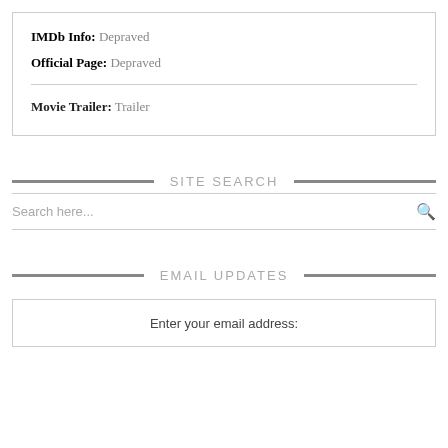IMDb Info: Depraved
Official Page: Depraved
Movie Trailer: Trailer
SITE SEARCH
Search here...
EMAIL UPDATES
Enter your email address: